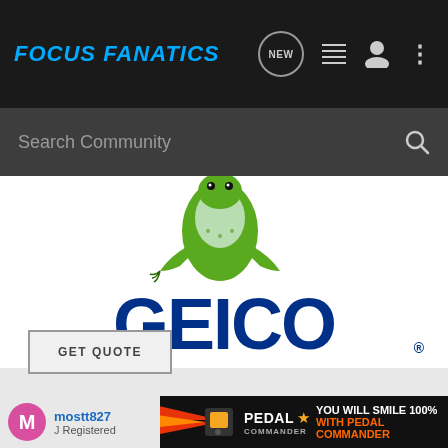[Figure (logo): Focus Fanatics logo in blue italic bold text on dark navigation bar with nav icons (NEW bubble, list, user, dots)]
[Figure (screenshot): Search Community search bar with magnifying glass icon on dark grey background]
[Figure (logo): GEICO advertisement with gecko mascot image above large blue GEICO logo with registered trademark]
GET QUOTE
[Figure (infographic): User row showing pink M avatar circle and username mostt827 - Registered, partially covered by Pedal Commander banner ad reading YOU WILL SMILE 100% WITH PEDAL COMMANDER]
[Figure (screenshot): Pedal Commander bottom banner ad with speed lines graphic, product image, PEDAL COMMANDER brand name with star, and text YOU WILL SMILE 100% WITH PEDAL COMMANDER in orange]